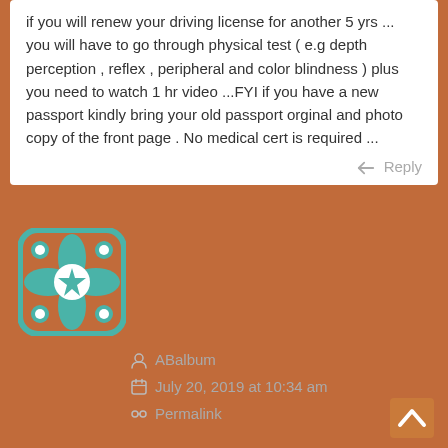if you will renew your driving license for another 5 yrs ... you will have to go through physical test ( e.g depth perception , reflex , peripheral and color blindness ) plus you need to watch 1 hr video ...FYI if you have a new passport kindly bring your old passport orginal and photo copy of the front page . No medical cert is required ...
Reply
[Figure (illustration): Teal/green geometric avatar icon with star pattern]
ABalbum
July 20, 2019 at 10:34 am
Permalink
At the Phahohlothin 18 office, there is no need to come early. I went twice recently after lunch (twice